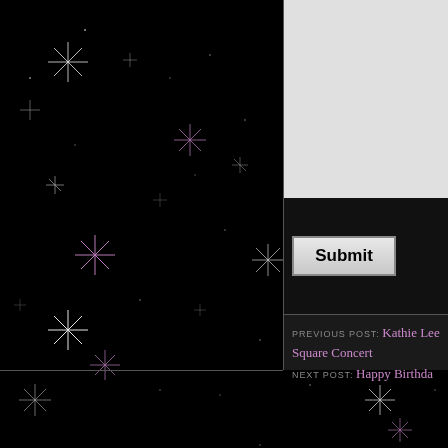[Figure (illustration): Black starfield background with white and purple sparkle/star shapes scattered across the entire page background]
[Figure (photo): Gray/white image box in the upper right panel]
Submit
PREVIOUS POST: Kathie Lee Square Concert
NEXT POST: Happy Birthday